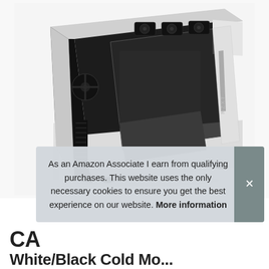[Figure (photo): NZXT PC computer case in white and black colorway, mid-tower ATX case with tempered glass side panel removed showing interior, shot from an angled front-left perspective on a white background.]
As an Amazon Associate I earn from qualifying purchases. This website uses the only necessary cookies to ensure you get the best experience on our website. More information
CA
White/Black Cold Mo...